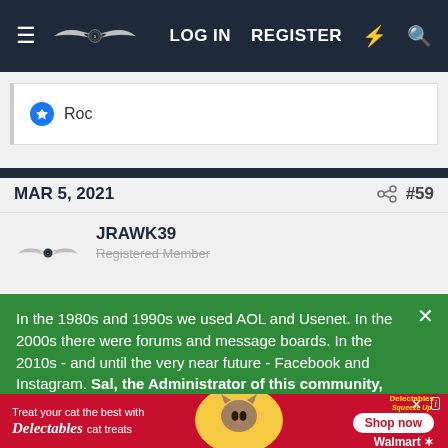LOG IN  REGISTER
Roc
MAR 5, 2021   #59
JRAWK39
Registered Member
In the 1980s and 1990s we used AOL and Usenet. In the 2000s there were forums and message boards. In the 2010s - and until the very near future - Facebook and Instagram. Sal, the Administrator of this community, has something new coming for Genesis owners... Become an early adopter of what's next by SIGNING UP HERE. Your email address will
[Figure (screenshot): Advertisement: Treat your cat the best with Delectables cat treats. Shop now at Walmart.]